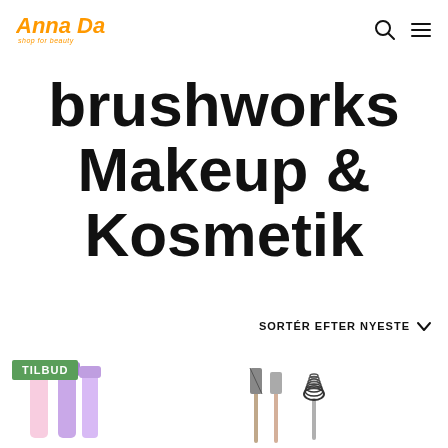Anna David — shop for beauty (logo) with search and menu icons
brushworks Makeup & Kosmetik
SORTÉR EFTER NYESTE
[Figure (photo): Two makeup product groups: left shows pastel pink and purple dermaplaning razors with a TILBUD badge; right shows angled makeup brushes and a spoolie tool on white background.]